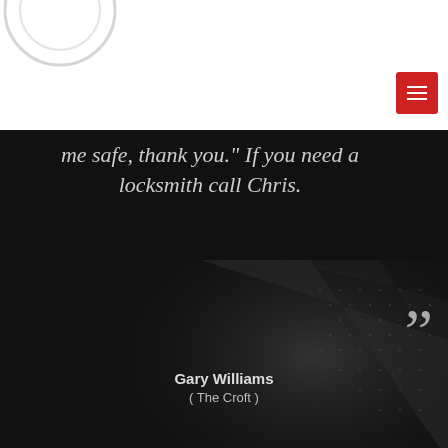me safe, thank you." If you need a locksmith call Chris.
Gary Williams
( The Croft )